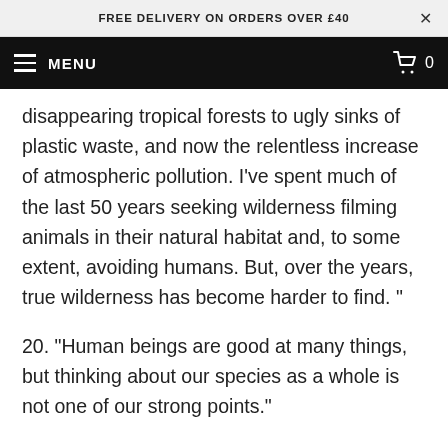FREE DELIVERY ON ORDERS OVER £40
MENU
disappearing tropical forests to ugly sinks of plastic waste, and now the relentless increase of atmospheric pollution. I've spent much of the last 50 years seeking wilderness filming animals in their natural habitat and, to some extent, avoiding humans. But, over the years, true wilderness has become harder to find. "
20. "Human beings are good at many things, but thinking about our species as a whole is not one of our strong points."